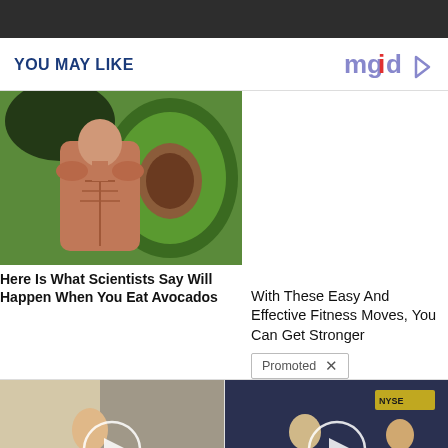YOU MAY LIKE
[Figure (logo): mgid logo with play button icon]
[Figure (photo): Composite image of human muscular anatomy figure overlaid with avocado halves on green background]
Here Is What Scientists Say Will Happen When You Eat Avocados
With These Easy And Effective Fitness Moves, You Can Get Stronger
Promoted
[Figure (photo): Video thumbnail: woman with dog in home setting, play button overlay]
Is Your Dog Licking Their Paws? Eating Grass? (Here's Why)
2,325
[Figure (photo): Video thumbnail: man in suit at NYSE news desk, play button overlay]
Biden Probably Wants This Video Destroyed — Massive Currency Upheaval Has Started
17,231